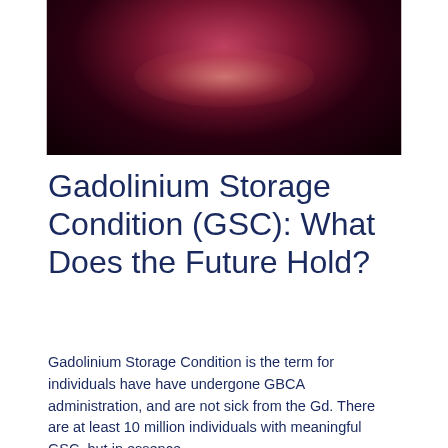[Figure (photo): Dark moody photograph of a floor or surface with a red/pink glowing light reflecting off it, set against a very dark background.]
Gadolinium Storage Condition (GSC): What Does the Future Hold?
Gadolinium Storage Condition is the term for individuals have have undergone GBCA administration, and are not sick from the Gd. There are at least 10 million individuals with meaningful GSC, but in essence